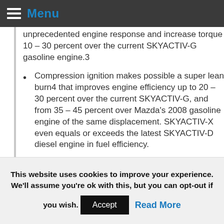Menu
unprecedented engine response and increase torque 10 – 30 percent over the current SKYACTIV-G gasoline engine.3
Compression ignition makes possible a super lean burn4 that improves engine efficiency up to 20 – 30 percent over the current SKYACTIV-G, and from 35 – 45 percent over Mazda's 2008 gasoline engine of the same displacement. SKYACTIV-X even equals or exceeds the latest SKYACTIV-D diesel engine in fuel efficiency.
With high efficiency across a wide range of rpms and engine loads, the engine allows much more latitude in the selection of gear ratios, providing both superior fuel economy and driving performance.
This website uses cookies to improve your experience. We'll assume you're ok with this, but you can opt-out if you wish. Accept Read More